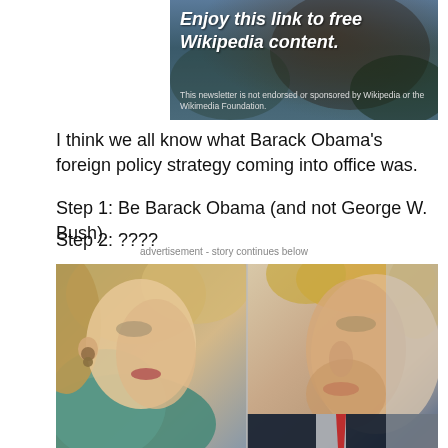[Figure (photo): Advertisement banner with italic bold white text on a dark stone/forest background image promoting Wikipedia content newsletter]
I think we all know what Barack Obama’s foreign policy strategy coming into office was.
Step 1: Be Barack Obama (and not George W. Bush).
Step 2: ????
advertisement - story continues below
[Figure (photo): Side by side close-up photos of Hillary Clinton (left, facing right, wearing teal jacket) and Donald Trump (right, facing left, wearing dark suit with red tie)]